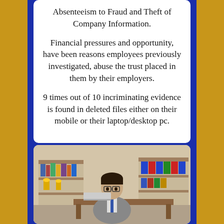Absenteeism to Fraud and Theft of Company Information.
Financial pressures and opportunity, have been reasons employees previously investigated, abuse the trust placed in them by their employers.
9 times out of 10 incriminating evidence is found in deleted files either on their mobile or their laptop/desktop pc.
[Figure (photo): A man in a suit and glasses sitting at a desk in an office, with bookshelves and trophies visible in the background.]